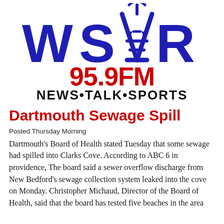[Figure (logo): WSAR 95.9FM News·Talk·Sports radio station logo with large blue block letters WSAR with a radio tower graphic, red 95.9FM text, and black NEWS·TALK·SPORTS tagline]
Dartmouth Sewage Spill
Posted Thursday Morning
Dartmouth's Board of Health stated Tuesday that some sewage had spilled into Clarks Cove. According to ABC 6 in providence, The board said a sewer overflow discharge from New Bedford's sewage collection system leaked into the cove on Monday. Christopher Michaud, Director of the Board of Health, said that the board has tested five beaches in the area